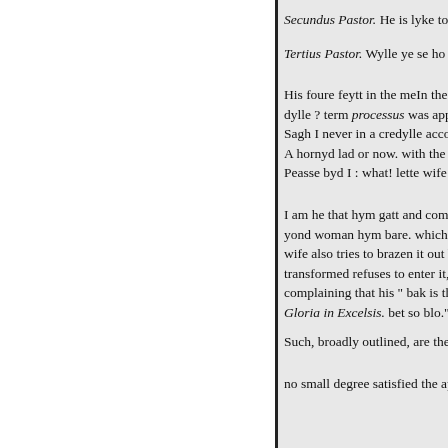Secundus Pastor. He is lyke to
Tertius Pastor. Wylle ye se ho
His foure feytt in the meIn the dylle ? term processus was appli Sagh I never in a credylle acco A hornyd lad or now. with the Peasse byd I : what! lette wife
I am he that hym gatt and com yond woman hym bare. which he wife also tries to brazen it out by transformed refuses to enter it, a complaining that his " bak is thra Gloria in Excelsis. bet so blo." T
Such, broadly outlined, are the
no small degree satisfied the app